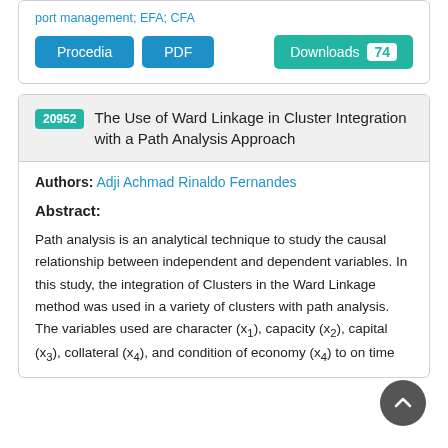port management; EFA; CFA
Procedia  PDF  Downloads 74
20952 The Use of Ward Linkage in Cluster Integration with a Path Analysis Approach
Authors: Adji Achmad Rinaldo Fernandes
Abstract:
Path analysis is an analytical technique to study the causal relationship between independent and dependent variables. In this study, the integration of Clusters in the Ward Linkage method was used in a variety of clusters with path analysis. The variables used are character (x1), capacity (x2), capital (x3), collateral (x4), and condition of economy (x4) to on time